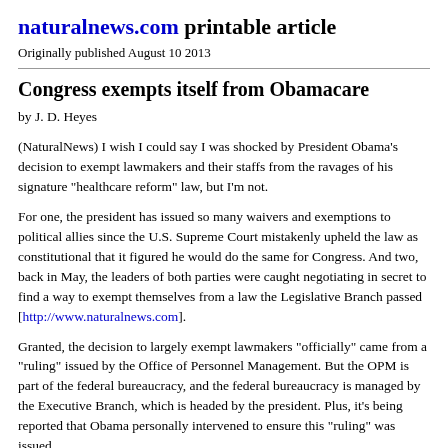naturalnews.com printable article
Originally published August 10 2013
Congress exempts itself from Obamacare
by J. D. Heyes
(NaturalNews) I wish I could say I was shocked by President Obama's decision to exempt lawmakers and their staffs from the ravages of his signature "healthcare reform" law, but I'm not.
For one, the president has issued so many waivers and exemptions to political allies since the U.S. Supreme Court mistakenly upheld the law as constitutional that it figured he would do the same for Congress. And two, back in May, the leaders of both parties were caught negotiating in secret to find a way to exempt themselves from a law the Legislative Branch passed [http://www.naturalnews.com].
Granted, the decision to largely exempt lawmakers "officially" came from a "ruling" issued by the Office of Personnel Management. But the OPM is part of the federal bureaucracy, and the federal bureaucracy is managed by the Executive Branch, which is headed by the president. Plus, it's being reported that Obama personally intervened to ensure this "ruling" was issued.
Now that lawmakers, who have touted this law as the end-all, be-all of healthcare reform, have successfully managed to exempt themselves from its ravages, what